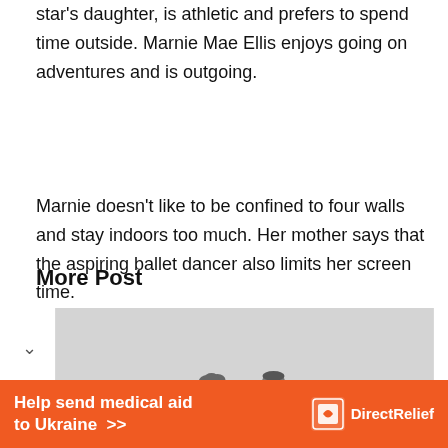star's daughter, is athletic and prefers to spend time outside. Marnie Mae Ellis enjoys going on adventures and is outgoing.
Marnie doesn't like to be confined to four walls and stay indoors too much. Her mother says that the aspiring ballet dancer also limits her screen time.
More Post
[Figure (photo): Black and white photo of two people (a child with curly hair and an adult) sitting side by side outdoors, viewed from behind, looking out at a landscape.]
Help send medical aid to Ukraine >>   DirectRelief